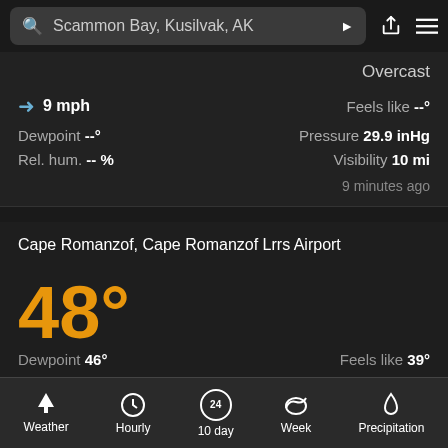Scammon Bay, Kusilvak, AK
Overcast
9 mph  Feels like --°  Dewpoint --°  Pressure 29.9 inHg  Rel. hum. -- %  Visibility 10 mi
9 minutes ago
Cape Romanzof, Cape Romanzof Lrrs Airport
48°
Dewpoint 46°  Feels like 39°
Weather  Hourly  10 day  Week  Precipitation